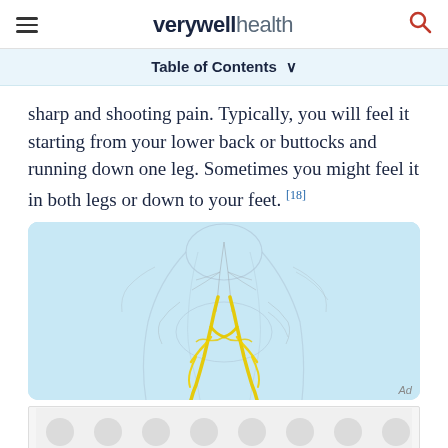verywell health
Table of Contents
sharp and shooting pain. Typically, you will feel it starting from your lower back or buttocks and running down one leg. Sometimes you might feel it in both legs or down to your feet. [18]
[Figure (illustration): Medical illustration of the human nervous system showing the sciatic nerve highlighted in yellow running from the lower back/spine through the pelvis and down the leg, on a translucent body outline with light blue background.]
[Figure (other): Advertisement banner with circular dot pattern in grey on light background.]